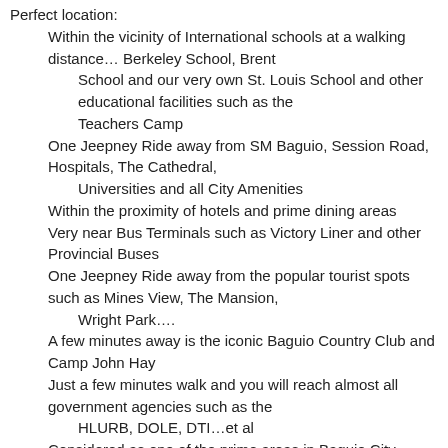Perfect location:
Within the vicinity of International schools at a walking distance… Berkeley School, Brent
School and our very own St. Louis School and other educational facilities such as the
Teachers Camp
One Jeepney Ride away from SM Baguio, Session Road, Hospitals, The Cathedral,
Universities and all City Amenities
Within the proximity of hotels and prime dining areas
Very near Bus Terminals such as Victory Liner and other Provincial Buses
One Jeepney Ride away from the popular tourist spots such as Mines View, The Mansion,
Wright Park….
A few minutes away is the iconic Baguio Country Club and Camp John Hay
Just a few minutes walk and you will reach almost all government agencies such as the
HLURB, DOLE, DTI…et al
Considered as one of the prime areas in Baguio City